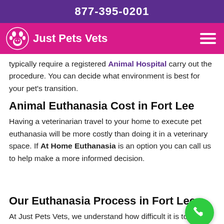877-395-0201
[Figure (logo): Just Pets Vets logo with paw/pet icon on pink/magenta navigation bar, with hamburger menu icon on right]
typically require a registered Animal Hospital carry out the procedure. You can decide what environment is best for your pet's transition.
Animal Euthanasia Cost in Fort Lee
Having a veterinarian travel to your home to execute pet euthanasia will be more costly than doing it in a veterinary space. If At Home Euthanasia is an option you can call us to help make a more informed decision.
Our Euthanasia Process in Fort Lee
At Just Pets Vets, we understand how difficult it is to make